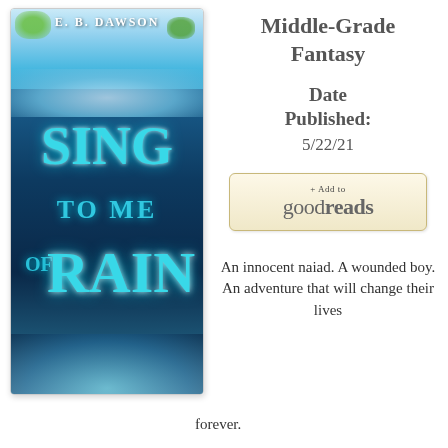[Figure (illustration): Book cover for 'Sing to Me of Rain' by E. B. Dawson — middle-grade fantasy novel with a waterfall and water-themed teal typography on a dark blue background]
Middle-Grade Fantasy
Date Published:
5/22/21
[Figure (logo): + Add to goodreads button]
An innocent naiad. A wounded boy. An adventure that will change their lives forever.